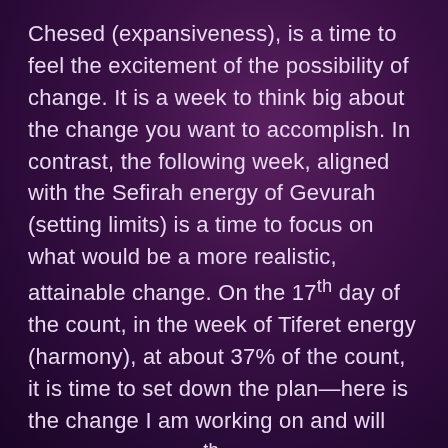Chesed (expansiveness), is a time to feel the excitement of the possibility of change. It is a week to think big about the change you want to accomplish. In contrast, the following week, aligned with the Sefirah energy of Gevurah (setting limits) is a time to focus on what would be a more realistic, attainable change. On the 17th day of the count, in the week of Tiferet energy (harmony), at about 37% of the count, it is time to set down the plan—here is the change I am working on and will actualize by the 7th week.